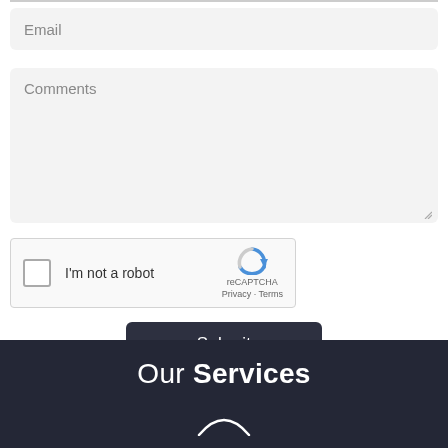[Figure (screenshot): Email input field with placeholder text 'Email' on light gray background with rounded corners]
[Figure (screenshot): Comments textarea with placeholder text 'Comments' on light gray background with rounded corners and resize handle]
[Figure (screenshot): reCAPTCHA widget with checkbox, 'I'm not a robot' label, reCAPTCHA logo, Privacy and Terms links]
[Figure (screenshot): Dark Submit button with white text]
Our Services